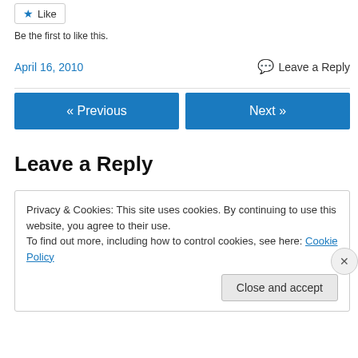[Figure (other): Like button with star icon]
Be the first to like this.
April 16, 2010   💬 Leave a Reply
« Previous   Next »
Leave a Reply
Privacy & Cookies: This site uses cookies. By continuing to use this website, you agree to their use.
To find out more, including how to control cookies, see here: Cookie Policy
Close and accept